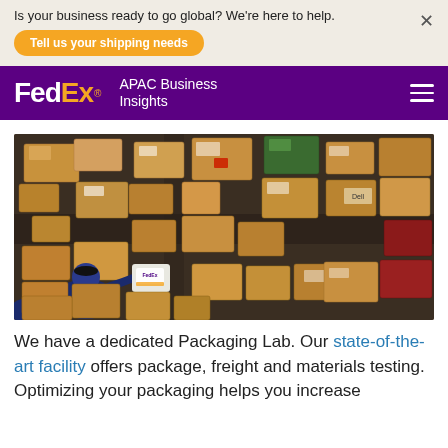Is your business ready to go global? We're here to help.
Tell us your shipping needs
FedEx. APAC Business Insights
[Figure (photo): Aerial view of a FedEx warehouse facility with numerous cardboard packages and boxes on conveyor belts, with two FedEx workers in dark uniforms handling packages]
We have a dedicated Packaging Lab. Our state-of-the-art facility offers package, freight and materials testing. Optimizing your packaging helps you increase